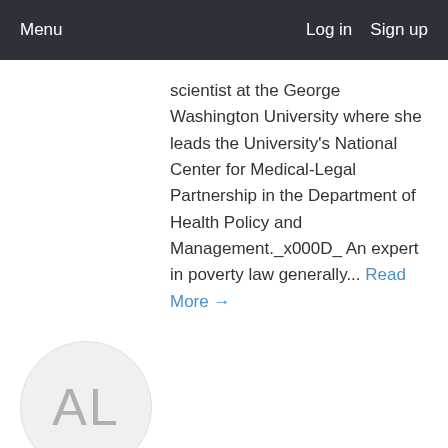Menu   Log in   Sign up
scientist at the George Washington University where she leads the University's National Center for Medical-Legal Partnership in the Department of Health Policy and Management._x000D_ An expert in poverty law generally... Read More →
[Figure (illustration): Circular avatar placeholder with initials AL in gray on light gray background]
Angela Lovitt
Deputy Director, Legal Aid Society of Hawaii